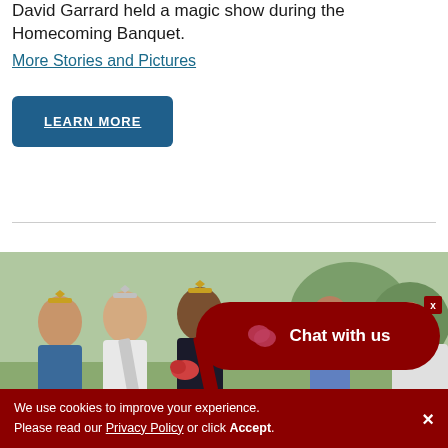David Garrard held a magic show during the Homecoming Banquet.
More Stories and Pictures
LEARN MORE
[Figure (photo): Group of women in formal attire including tiaras and sashes, likely a homecoming court, outdoors.]
Chat with us
We use cookies to improve your experience. Please read our Privacy Policy or click Accept.